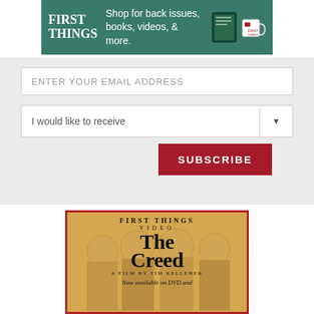[Figure (illustration): First Things banner advertisement — green background with 'FIRST THINGS' in white serif text, tagline 'Shop for back issues, books, videos, & more.' with book and mug product images on right]
ENTER YOUR EMAIL ADDRESS
I would like to receive
SUBSCRIBE
[Figure (illustration): First Things Video advertisement for 'The Creed — A Film by Tim Kelleher'. Gold/warm background with Byzantine-style religious figures. Large serif text reads 'THE CREED' with subtitle 'A FILM BY TIM KELLEHER' and 'Now available on DVD and']